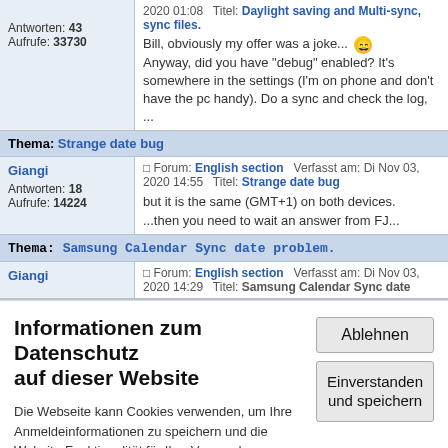Antworten: 43
Aufrufe: 33730
2020 01:08  Titel: Daylight saving and Multi-sync, sync files.
Bill, obviously my offer was a joke... Anyway, did you have "debug" enabled? It's somewhere in the settings (I'm on phone and don't have the pc handy). Do a sync and check the log, ...
Thema: Strange date bug
Giangi
Forum: English section  Verfasst am: Di Nov 03, 2020 14:55  Titel: Strange date bug
Antworten: 18
Aufrufe: 14224
but it is the same (GMT+1) on both devices. ...then you need to wait an answer from FJ...
Thema: Samsung Calendar Sync date problem.
Giangi
Forum: English section  Verfasst am: Di Nov 03, 2020 14:29  Titel: Samsung Calendar Sync date
Informationen zum Datenschutz auf dieser Website
Die Webseite kann Cookies verwenden, um Ihre Anmeldeinformationen zu speichern und die Website-Funktionalität für Ihre Verwendung zu optimieren. Weitere Informationen sind auf folgenden Seiten verfügbar Datenschutz und Cookies